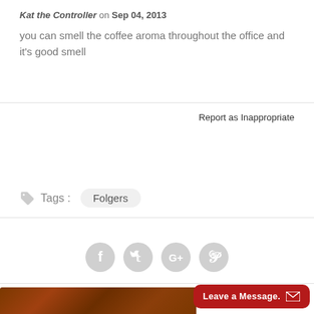Kat the Controller on Sep 04, 2013
you can smell the coffee aroma throughout the office and it's good smell
Report as Inappropriate
Tags : Folgers
[Figure (infographic): Social sharing icons: Facebook, Twitter, Google+, Pinterest (grey circles)]
SPECIFICATIONS   REVIEWS   SPECIFICATIONS
Leave a Message.